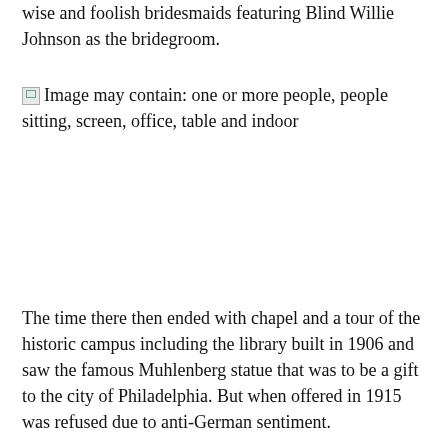wise and foolish bridesmaids featuring Blind Willie Johnson as the bridegroom.
[Figure (photo): Broken image placeholder with alt text: Image may contain: one or more people, people sitting, screen, office, table and indoor]
The time there then ended with chapel and a tour of the historic campus including the library built in 1906 and saw the famous Muhlenberg statue that was to be a gift to the city of Philadelphia. But when offered in 1915 was refused due to anti-German sentiment.